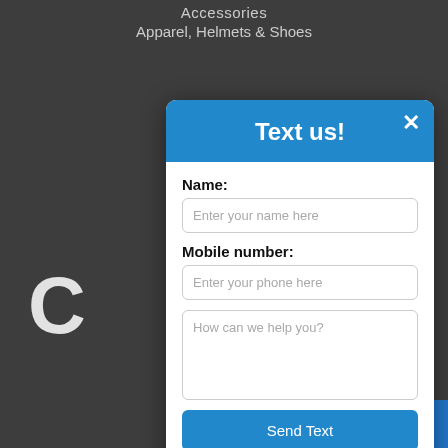Accessories
Apparel, Helmets & Shoes
[Figure (screenshot): A modal dialog box with blue header titled 'Text us!' containing a form with Name field, Mobile number field, a text area 'How can we help you?', a 'Send Text' button, and 'Powered by Ikeono' footer. Background is dark gray with a large 'C' letter visible and a blue button in the bottom right corner.]